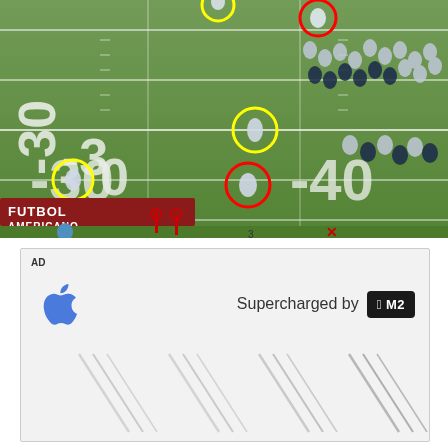[Figure (photo): Aerial view of an American football game on a grass field, showing yard markers -30 and -40, with players circled in yellow and red annotation circles, and a 'FUTBOL AMERICANO' sideline banner. Sideline shows officials, down markers, and tracking dots.]
[Figure (screenshot): Advertisement banner with 'AD' label, Apple logo (blue apple icon), text 'Supercharged by' and Apple M2 chip logo on dark background. Below are diagonal silver lines suggesting MacBook laptop bodies.]